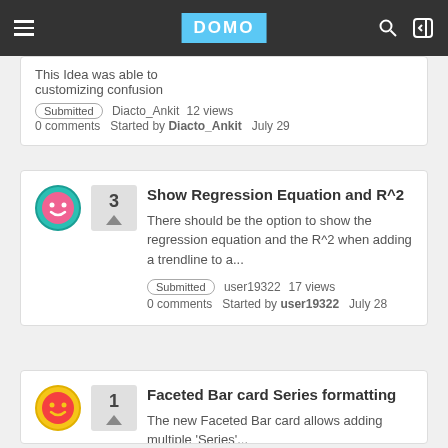DOMO navigation bar
This Idea was able to... customizing confusion
Submitted · Diacto_Ankit · 12 views
0 comments  Started by Diacto_Ankit  July 29
Show Regression Equation and R^2
There should be the option to show the regression equation and the R^2 when adding a trendline to a...
Submitted  user19322  17 views
0 comments  Started by user19322  July 28
Faceted Bar card Series formatting
The new Faceted Bar card allows adding multiple 'Series'...